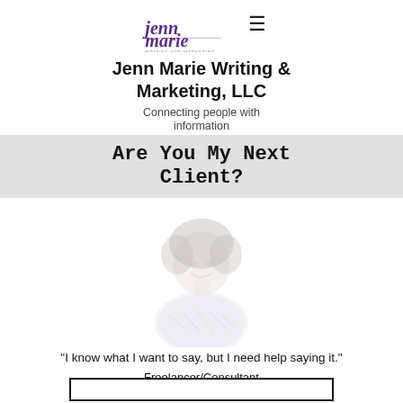[Figure (logo): Jenn Marie Writing and Marketing cursive logo with decorative script]
Jenn Marie Writing & Marketing, LLC
Connecting people with information
Are You My Next Client?
[Figure (photo): Faded/watermarked photo of a smiling woman with curly hair wearing a patterned top]
"I know what I want to say, but I need help saying it."
Freelancer/Consultant